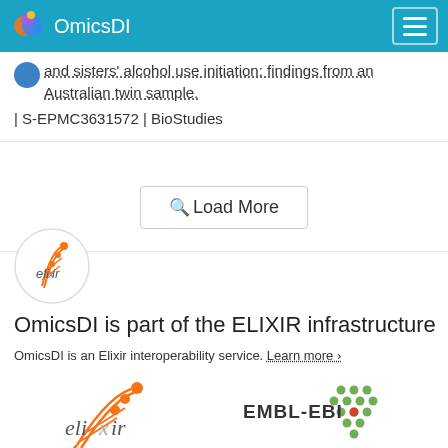OmicsDI
and sisters' alcohol use initiation: findings from an Australian twin sample. | S-EPMC3631572 | BioStudies
Load More
[Figure (logo): ELIXIR logo — small circular logo with orange helix/DNA strands]
OmicsDI is part of the ELIXIR infrastructure
OmicsDI is an Elixir interoperability service. Learn more ›
[Figure (logo): ELIXIR large logo — orange helix/DNA on white background with text 'elixir']
[Figure (logo): EMBL-EBI logo — hexagonal green pattern with EMBL-EBI text]